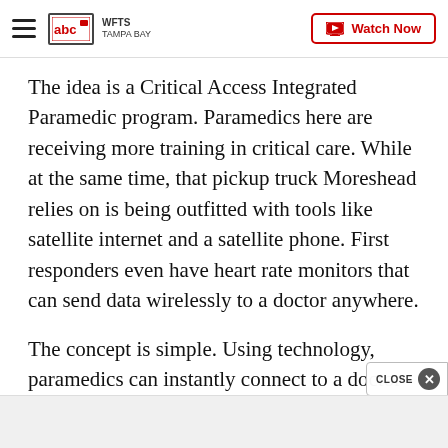WFTS Tampa Bay — Watch Now
The idea is a Critical Access Integrated Paramedic program. Paramedics here are receiving more training in critical care. While at the same time, that pickup truck Moreshead relies on is being outfitted with tools like satellite internet and a satellite phone. First responders even have heart rate monitors that can send data wirelessly to a doctor anywhere.
The concept is simple. Using technology, paramedics can instantly connect to a doctor no matter where they take a call. From stitches to ultrasounds, paramedics in this region are bridging the rural healthcare gap by